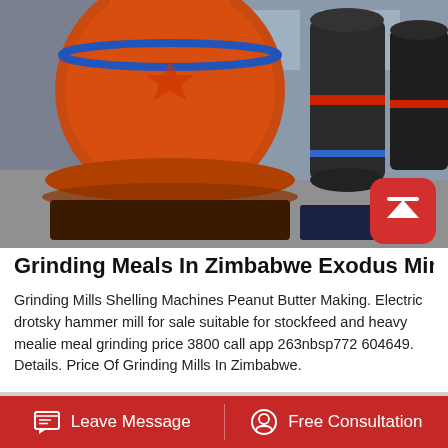[Figure (photo): Industrial grinding mill machines in a factory setting. A large orange cone crusher in the foreground and multiple dark grey grinding mills in the background on a factory floor.]
Grinding Meals In Zimbabwe Exodus Mining Mach…
Grinding Mills Shelling Machines Peanut Butter Making. Electric drotsky hammer mill for sale suitable for stockfeed and heavy mealie meal grinding price 3800 call app 263nbsp772 604649. Details. Price Of Grinding Mills In Zimbabwe.
[Figure (photo): Bottom partial image of industrial machinery, partially visible.]
Leave Message   Free Consultation